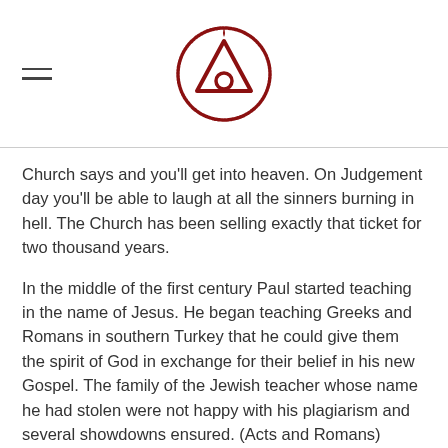[logo: circular emblem with triangle/drop icon in dark red]
Church says and you'll get into heaven. On Judgement day you'll be able to laugh at all the sinners burning in hell. The Church has been selling exactly that ticket for two thousand years.
In the middle of the first century Paul started teaching in the name of Jesus. He began teaching Greeks and Romans in southern Turkey that he could give them the spirit of God in exchange for their belief in his new Gospel. The family of the Jewish teacher whose name he had stolen were not happy with his plagiarism and several showdowns ensured. (Acts and Romans)
Paul's letters are a wall of words that say very little. He misquoted and lied but that didn't stop him